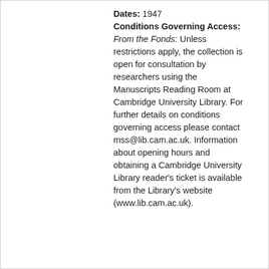Dates: 1947
Conditions Governing Access: From the Fonds: Unless restrictions apply, the collection is open for consultation by researchers using the Manuscripts Reading Room at Cambridge University Library. For further details on conditions governing access please contact mss@lib.cam.ac.uk. Information about opening hours and obtaining a Cambridge University Library reader's ticket is available from the Library's website (www.lib.cam.ac.uk).